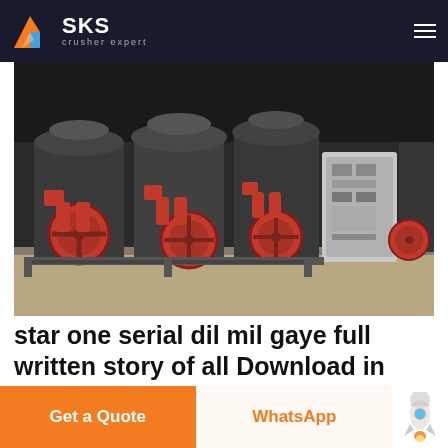SKS crusher expert
[Figure (photo): Industrial crusher machines in a factory warehouse — large grey cone crushers with red flywheels and a control panel cabinet]
star one serial dil mil gaye full written story of all Download in serial dil mil gayye last episode on star one
Get a Quote
WhatsApp